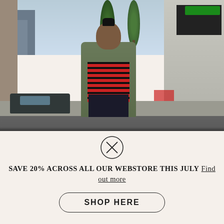[Figure (photo): Street photography of a man with a mohawk wearing a green/olive trench coat over a red and black striped shirt, standing on an urban sidewalk with trees, buildings, and cars in the background.]
[Figure (illustration): A circular X icon (circle with an X inside), used as a decorative or branding element.]
SAVE 20% ACROSS ALL OUR WEBSTORE THIS JULY Find out more
SHOP HERE